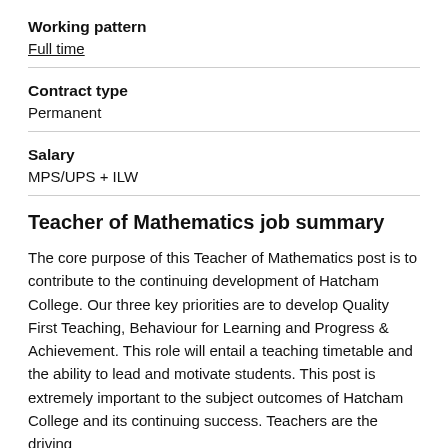Working pattern
Full time
Contract type
Permanent
Salary
MPS/UPS + ILW
Teacher of Mathematics job summary
The core purpose of this Teacher of Mathematics post is to contribute to the continuing development of Hatcham College. Our three key priorities are to develop Quality First Teaching, Behaviour for Learning and Progress & Achievement. This role will entail a teaching timetable and the ability to lead and motivate students. This post is extremely important to the subject outcomes of Hatcham College and its continuing success. Teachers are the driving